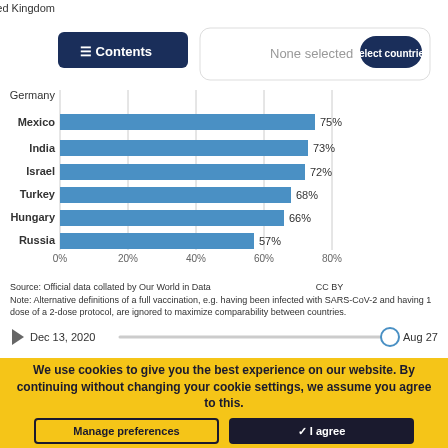[Figure (bar-chart): Share of population fully vaccinated against COVID-19]
Source: Official data collated by Our World in Data   CC BY
Note: Alternative definitions of a full vaccination, e.g. having been infected with SARS-CoV-2 and having 1 dose of a 2-dose protocol, are ignored to maximize comparability between countries.
Dec 13, 2020  Aug 27, 2022
We use cookies to give you the best experience on our website. By continuing without changing your cookie settings, we assume you agree to this.